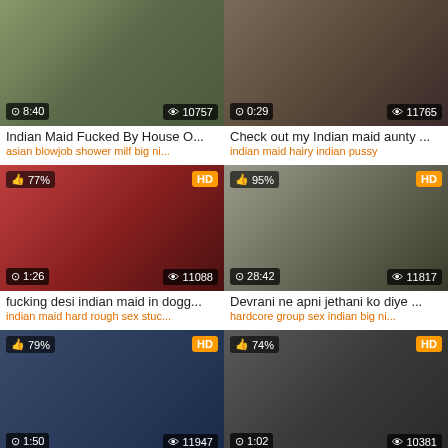[Figure (screenshot): Video thumbnail grid item 1 - Indian Maid video, duration 8:40, views 10757]
Indian Maid Fucked By House O...
asian blowjob shower milf big ni...
[Figure (screenshot): Video thumbnail grid item 2 - Check out my Indian maid aunty, duration 0:29, views 11765]
Check out my Indian maid aunty ...
indian maid hairy indian pussy
[Figure (screenshot): Video thumbnail grid item 3 - fucking desi indian maid in dogg..., 77% like, HD, duration 1:26, views 11088]
fucking desi indian maid in dogg...
indian maid hard rough sex stuc...
[Figure (screenshot): Video thumbnail grid item 4 - Devrani ne apni jethani ko diye..., 95% like, HD, duration 28:42, views 11817]
Devrani ne apni jethani ko diye ...
hardcore group sex indian big ni...
[Figure (screenshot): Video thumbnail grid item 5 - Horny Lily Giving Young Indian Fa..., 79% like, HD, duration 1:50, views 11947]
Horny Lily Giving Young Indian Fa...
mysexylily big boobs butt mastur...
[Figure (screenshot): Video thumbnail grid item 6 - Tamil SATIN SILK maid, 74% like, HD, duration 1:02, views 10381]
Tamil SATIN SILK maid
blowjob fingering handjob indian...
[Figure (screenshot): Video thumbnail grid item 7 - partial, 95% like, HD]
[Figure (screenshot): Video thumbnail grid item 8 - partial, 70% like, scroll-to-top button]